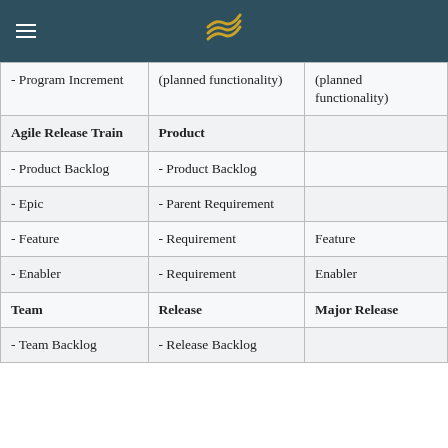|  |  |  |
| --- | --- | --- |
| - Program Increment | (planned functionality) | (planned functionality) |
| Agile Release Train | Product |  |
| - Product Backlog | - Product Backlog |  |
| - Epic | - Parent Requirement |  |
| - Feature | - Requirement | Feature |
| - Enabler | - Requirement | Enabler |
| Team | Release | Major Release |
| - Team Backlog | - Release Backlog |  |